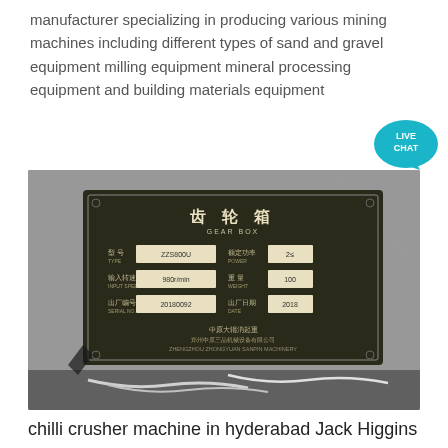manufacturer specializing in producing various mining machines including different types of sand and gravel equipment milling equipment mineral processing equipment and building materials equipment
[Figure (photo): Close-up photograph of a metal gear box nameplate with Chinese characters (齿轮箱 / GEAR BOX) and specification fields, mounted on grey machinery surface with cables visible at bottom.]
chilli crusher machine in hyderabad Jack Higgins